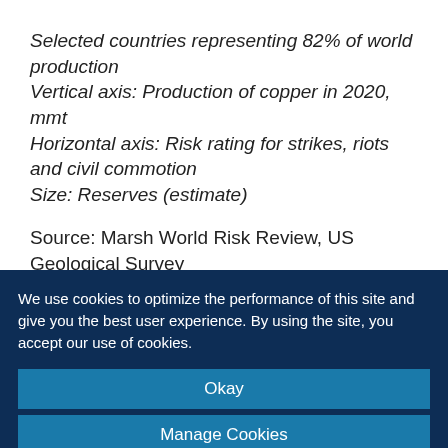Selected countries representing 82% of world production
Vertical axis: Production of copper in 2020, mmt
Horizontal axis: Risk rating for strikes, riots and civil commotion
Size: Reserves (estimate)
Source: Marsh World Risk Review, US Geological Survey
We use cookies to optimize the performance of this site and give you the best user experience. By using the site, you accept our use of cookies.
Okay
Manage Cookies